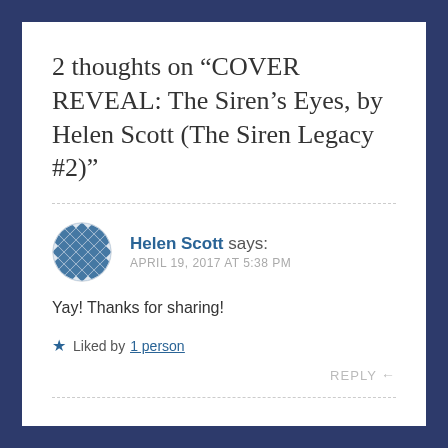2 thoughts on “COVER REVEAL: The Siren’s Eyes, by Helen Scott (The Siren Legacy #2)”
Helen Scott says: APRIL 19, 2017 AT 5:38 PM
Yay! Thanks for sharing!
★ Liked by 1 person
REPLY